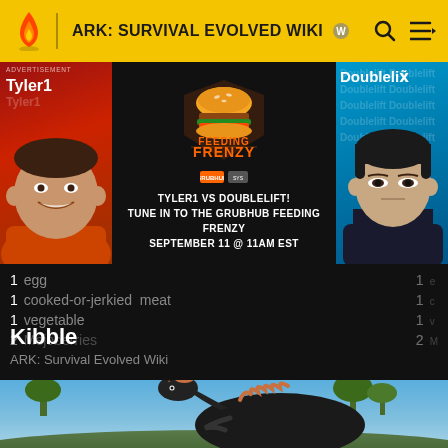ARK: SURVIVAL EVOLVED WIKI
[Figure (screenshot): Advertisement banner featuring Tyler1 vs Doublelift Grubhub Feeding Frenzy promotion. Left panel: red background with Tyler1 (smiling man). Center: black background with Feeding Frenzy logo and text 'TYLER1 VS DOUBLELIFT! TUNE IN TO THE GRUBHUB FEEDING FRENZY SEPTEMBER 11 @ 11AM EST'. Right panel: blue background with Doublelift (Asian man in dark hoodie).]
1 egg
1 cooked-or-jerkied meat
1 vegetable
2 Mejoberries
Kibble
ARK: Survival Evolved Wiki
[Figure (photo): Screenshot from ARK: Survival Evolved showing a large dinosaur (appears to be a Therizinosaurus or similar creature) with prominent feathers/plumage, standing in a forested outdoor environment with blue sky.]